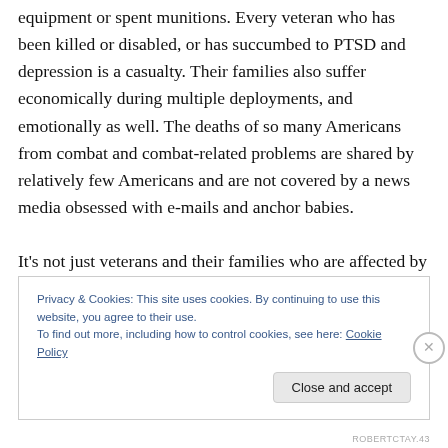equipment or spent munitions. Every veteran who has been killed or disabled, or has succumbed to PTSD and depression is a casualty. Their families also suffer economically during multiple deployments, and emotionally as well. The deaths of so many Americans from combat and combat-related problems are shared by relatively few Americans and are not covered by a news media obsessed with e-mails and anchor babies.

It's not just veterans and their families who are affected by war. Another aspect of the human costs of that war has
Privacy & Cookies: This site uses cookies. By continuing to use this website, you agree to their use.
To find out more, including how to control cookies, see here: Cookie Policy
Close and accept
ROBERTCTAY.43